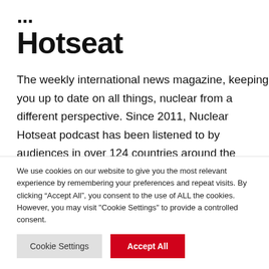Hotseat
The weekly international news magazine, keeping you up to date on all things, nuclear from a different perspective. Since 2011, Nuclear Hotseat podcast has been listened to by audiences in over 124 countries around the World.
We use cookies on our website to give you the most relevant experience by remembering your preferences and repeat visits. By clicking “Accept All”, you consent to the use of ALL the cookies. However, you may visit "Cookie Settings" to provide a controlled consent.